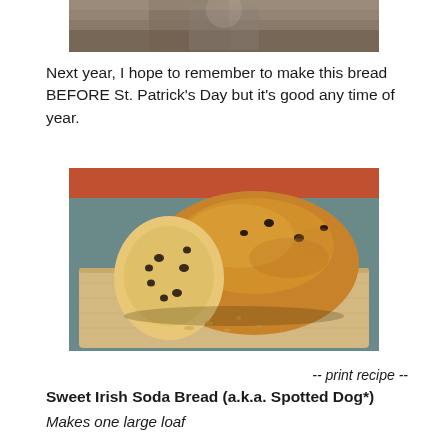[Figure (photo): Partial photo at top of page showing a blurry outdoor scene, cropped]
Next year, I hope to remember to make this bread BEFORE St. Patrick's Day but it's good any time of year.
[Figure (photo): Photo of a loaf of Irish soda bread cut open on a wooden cutting board, showing raisins inside]
-- print recipe --
Sweet Irish Soda Bread (a.k.a. Spotted Dog*)
Makes one large loaf